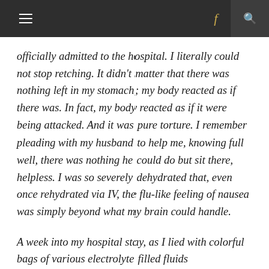≡  f  🔍
officially admitted to the hospital. I literally could not stop retching. It didn't matter that there was nothing left in my stomach; my body reacted as if there was. In fact, my body reacted as if it were being attacked. And it was pure torture. I remember pleading with my husband to help me, knowing full well, there was nothing he could do but sit there, helpless. I was so severely dehydrated that, even once rehydrated via IV, the flu-like feeling of nausea was simply beyond what my brain could handle.
A week into my hospital stay, as I lied with colorful bags of various electrolyte filled fluids